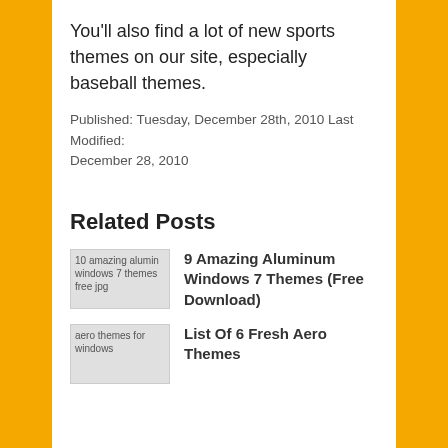You'll also find a lot of new sports themes on our site, especially baseball themes.
Published: Tuesday, December 28th, 2010 Last Modified: December 28, 2010
Related Posts
[Figure (other): Thumbnail image: 10 amazing alumin windows 7 themes free jpg]
9 Amazing Aluminum Windows 7 Themes (Free Download)
[Figure (other): Thumbnail image: aero themes for windows]
List Of 6 Fresh Aero Themes